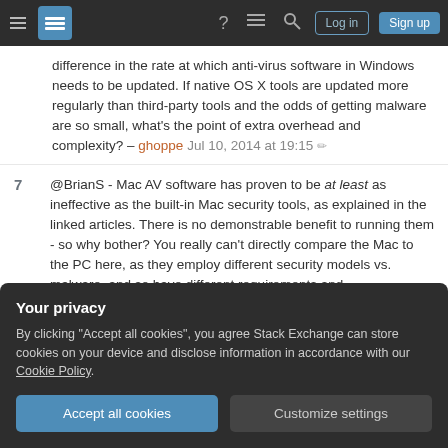Stack Exchange navigation bar with hamburger menu, logo, help, chat, search icons, Log in and Sign up buttons
difference in the rate at which anti-virus software in Windows needs to be updated. If native OS X tools are updated more regularly than third-party tools and the odds of getting malware are so small, what's the point of extra overhead and complexity? – ghoppe Jul 10, 2014 at 19:15
@BrianS - Mac AV software has proven to be at least as ineffective as the built-in Mac security tools, as explained in the linked articles. There is no demonstrable benefit to running them - so why bother? You really can't directly compare the Mac to the PC here, as they employ different security models vs. malware, and so have different requirements and
Your privacy
By clicking "Accept all cookies", you agree Stack Exchange can store cookies on your device and disclose information in accordance with our Cookie Policy.
Accept all cookies  Customize settings